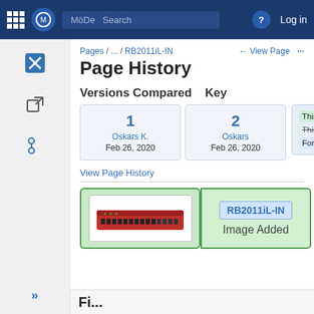MöDe Search | Log in
Pages / ... / RB2011iL-IN
Page History
Versions Compared   Key
1
Oskars K.
Feb 26, 2020
2
Oskars
Feb 26, 2020
This line was added.
This line was removed.
Formatting was changed.
View Page History
[Figure (screenshot): Red network switch/router (MikroTik RB2011iL-IN) shown with green border indicating image was added]
RB2011iL-IN   Image Added
Fi...